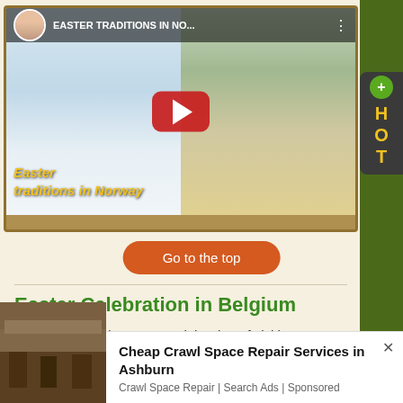[Figure (screenshot): YouTube video thumbnail showing Easter Traditions in Norway, with a woman skiing on snow on the left and a woman standing next to flower egg decorations on the right, with a red YouTube play button in the center. Video title bar reads 'EASTER TRADITIONS IN NO...']
Go to the top
Easter Celebration in Belgium
Apart from regular Easter celebration of visiting
[Figure (photo): Partial photo of a building with wooden/brick structure visible at the bottom of the page]
Cheap Crawl Space Repair Services in Ashburn
Crawl Space Repair | Search Ads | Sponsored